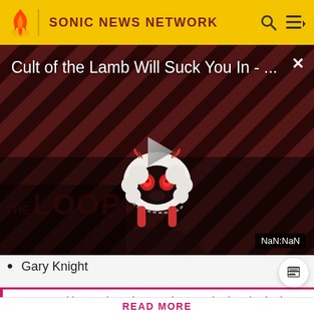SONIC NEWS NETWORK
[Figure (screenshot): Video player thumbnail showing 'Cult of the Lamb Will Suck You In - ...' with a dark diagonal striped background, a cartoon lamb character with devil horns, a play button in the center, 'THE LOOP' text watermark, and 'NaN:NaN' duration badge.]
Gary Knight
Know something we don't about Sonic? Don't hesitate in signing up today! It's fast, free, and easy, and you will get a
READ MORE